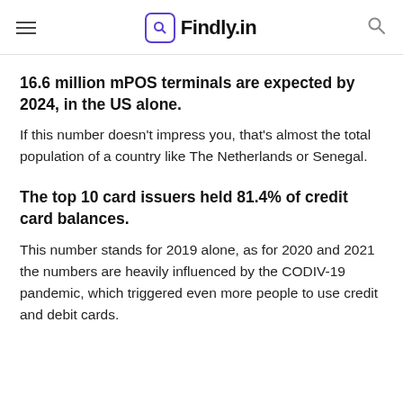Findly.in
16.6 million mPOS terminals are expected by 2024, in the US alone.
If this number doesn't impress you, that's almost the total population of a country like The Netherlands or Senegal.
The top 10 card issuers held 81.4% of credit card balances.
This number stands for 2019 alone, as for 2020 and 2021 the numbers are heavily influenced by the CODIV-19 pandemic, which triggered even more people to use credit and debit cards.